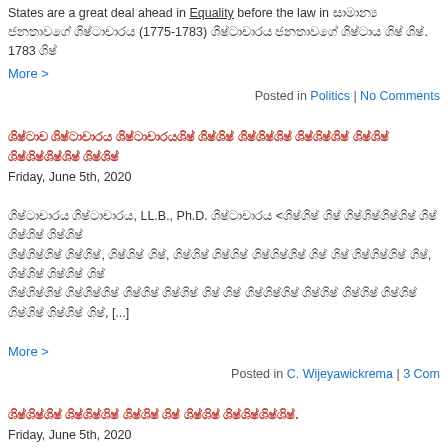States are a great deal ahead in equality before the law in... (1775-1783) ... 1783 ...
More >
Posted in Politics | No Comments
Sinhala title text - Friday, June 5th, 2020
Sinhala excerpt text LL.B., Ph.D. ... [...]
More >
Posted in C. Wijeyawickrema | 3 Comments
Sinhala title text second post - Friday, June 5th, 2020
Sinhala excerpt text ... 1265 ... (Renaissance- ...) ...
More >